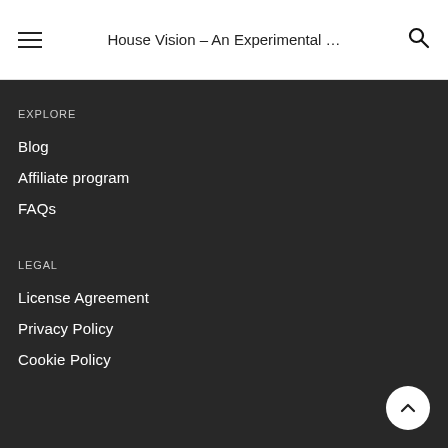House Vision – An Experimental …
EXPLORE
Blog
Affiliate program
FAQs
LEGAL
License Agreement
Privacy Policy
Cookie Policy